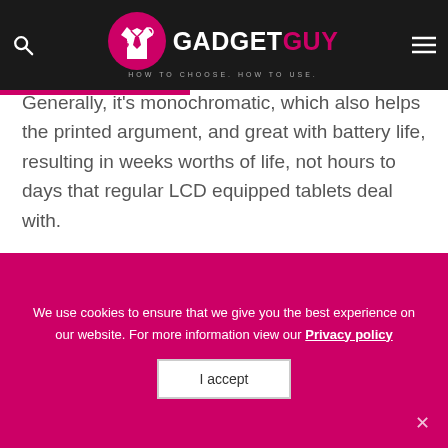GADGET GUY — HOW TO CHOOSE. HOW TO USE.
Generally, it's monochromatic, which also helps the printed argument, and great with battery life, resulting in weeks worths of life, not hours to days that regular LCD equipped tablets deal with.
We use cookies to ensure that we give you the best experience on our website. For more information view our Privacy policy
I accept